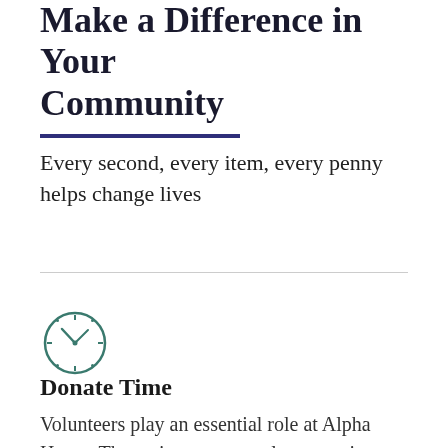Make a Difference in Your Community
Every second, every item, every penny helps change lives
[Figure (illustration): A clock icon rendered in teal/dark green outline style, showing approximately 10:10 time.]
Donate Time
Volunteers play an essential role at Alpha Home. The assistance our volunteers give